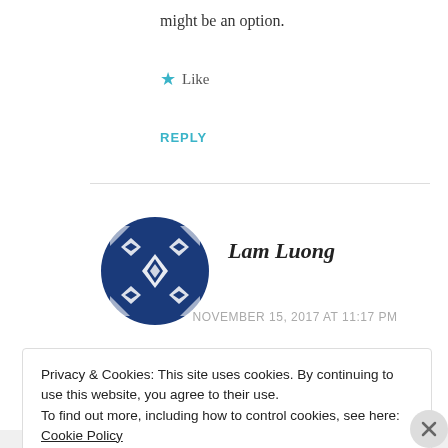might be an option.
★ Like
REPLY
[Figure (logo): Blue geometric snowflake/diamond pattern avatar icon for user Lam Luong]
Lam Luong
NOVEMBER 15, 2017 AT 11:17 PM
I just thought of something – the Hell
Privacy & Cookies: This site uses cookies. By continuing to use this website, you agree to their use.
To find out more, including how to control cookies, see here: Cookie Policy
Close and accept